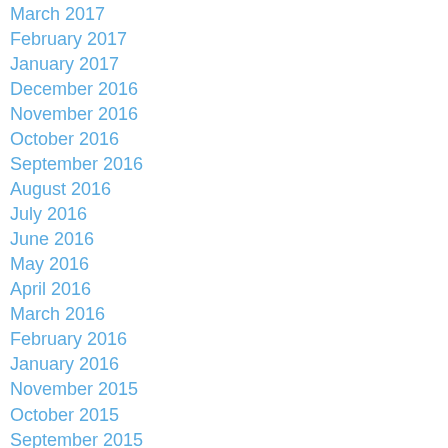March 2017
February 2017
January 2017
December 2016
November 2016
October 2016
September 2016
August 2016
July 2016
June 2016
May 2016
April 2016
March 2016
February 2016
January 2016
November 2015
October 2015
September 2015
August 2015
June 2015
April 2015